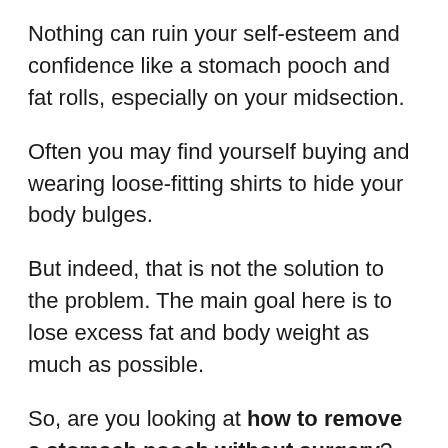Nothing can ruin your self-esteem and confidence like a stomach pooch and fat rolls, especially on your midsection.
Often you may find yourself buying and wearing loose-fitting shirts to hide your body bulges.
But indeed, that is not the solution to the problem. The main goal here is to lose excess fat and body weight as much as possible.
So, are you looking at how to remove a stomach pooch without surgery?
If yes, then you are at the right place. Here in this article, we will show the top 5 ways to get rid of belly fat without surgery.